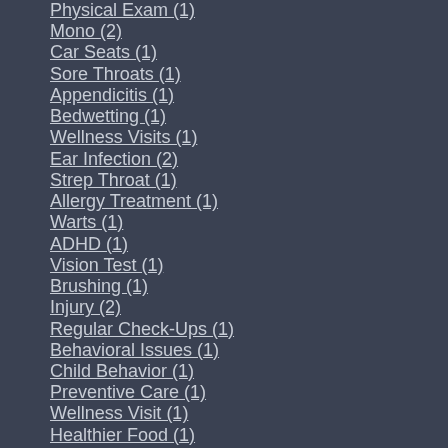Physical Exam (1)
Mono (2)
Car Seats (1)
Sore Throats (1)
Appendicitis (1)
Bedwetting (1)
Wellness Visits (1)
Ear Infection (2)
Strep Throat (1)
Allergy Treatment (1)
Warts (1)
ADHD (1)
Vision Test (1)
Brushing (1)
Injury (2)
Regular Check-Ups (1)
Behavioral Issues (1)
Child Behavior (1)
Preventive Care (1)
Wellness Visit (1)
Healthier Food (1)
Healthy Diet (1)
Childhood Asthma (1)